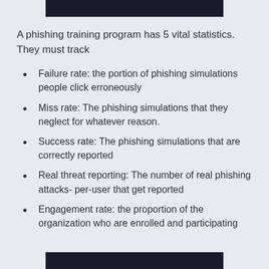[Figure (photo): Dark header image bar at top of page]
A phishing training program has 5 vital statistics. They must track
Failure rate: the portion of phishing simulations people click erroneously
Miss rate: The phishing simulations that they neglect for whatever reason.
Success rate: The phishing simulations that are correctly reported
Real threat reporting: The number of real phishing attacks- per-user that get reported
Engagement rate: the proportion of the organization who are enrolled and participating
[Figure (photo): Dark footer image bar at bottom of page]